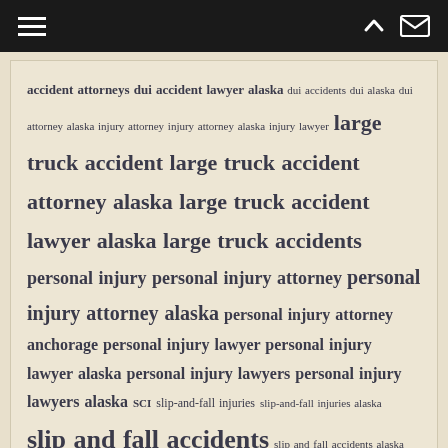Navigation bar with hamburger menu, up arrow, and mail icons
accident attorneys dui accident lawyer alaska dui accidents dui alaska dui attorney alaska injury attorney injury attorney alaska injury lawyer large truck accident large truck accident attorney alaska large truck accident lawyer alaska large truck accidents personal injury personal injury attorney personal injury attorney alaska personal injury attorney anchorage personal injury lawyer personal injury lawyer alaska personal injury lawyers personal injury lawyers alaska SCI slip-and-fall injuries slip-and-fall injuries alaska slip and fall accidents slip and fall accidents alaska spinal cord injury TBI traumatic brain injury wrongful death wrongful death attorney alaska wrongful death lawyer wrongful death lawyer alaska